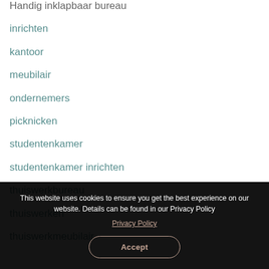Handig inklapbaar bureau
inrichten
kantoor
meubilair
ondernemers
picknicken
studentenkamer
studentenkamer inrichten
thuiswerkbureau
thuiswerken
thuiswerkmeubilair
This website uses cookies to ensure you get the best experience on our website. Details can be found in our Privacy Policy
Privacy Policy
Accept